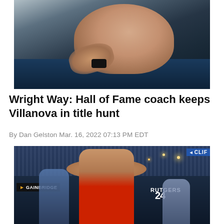[Figure (photo): A man in a dark navy blue jacket, shown in profile from the shoulders up, holding his hand near his chin in a thoughtful pose. He appears to be a basketball coach observing a game. He is wearing a smartwatch.]
Wright Way: Hall of Fame coach keeps Villanova in title hunt
By Dan Gelston Mar. 16, 2022 07:13 PM EDT
[Figure (photo): A basketball player wearing a Rutgers #24 jersey jumps to shoot the ball at an indoor arena. The shot is taken from below with the player reaching upward holding a basketball. In the background is a GAINBRIDGE sign on the left and a CLIF sign on the upper right. Crowd and arena visible in background.]